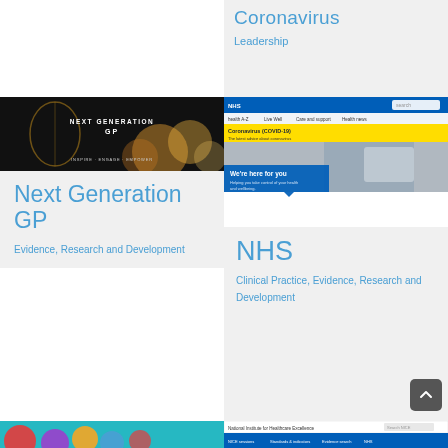[Figure (screenshot): Partial view of coronavirus/COVID leadership card with grey background, showing partial heading 'Coronavirus' and subheading 'Leadership']
Coronavirus
Leadership
[Figure (photo): Next Generation GP banner image with bokeh light effect on dark background, text reads 'NEXT GENERATION GP' and 'INSPIRE · ENGAGE · EMPOWER']
Next Generation GP
Evidence, Research and Development
[Figure (screenshot): NHS website screenshot showing coronavirus (COVID-19) page with yellow banner, blue navigation bar, and 'We're here for you' panel with person holding phone]
NHS
Clinical Practice, Evidence, Research and Development
[Figure (screenshot): Partial view of colorful circles/dots on teal background at bottom left]
[Figure (screenshot): Partial view of National Institute for Healthcare Excellence (NICE) website at bottom right]